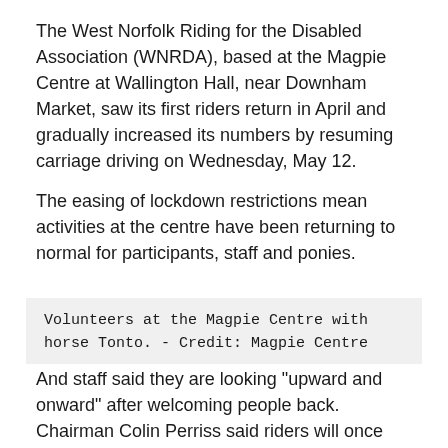The West Norfolk Riding for the Disabled Association (WNRDA), based at the Magpie Centre at Wallington Hall, near Downham Market, saw its first riders return in April and gradually increased its numbers by resuming carriage driving on Wednesday, May 12.
The easing of lockdown restrictions mean activities at the centre have been returning to normal for participants, staff and ponies.
Volunteers at the Magpie Centre with horse Tonto. - Credit: Magpie Centre
And staff said they are looking "upward and onward" after welcoming people back. Chairman Colin Perriss said riders will once again be able to experience the significant and therapeutic benefits of interacting with horses.